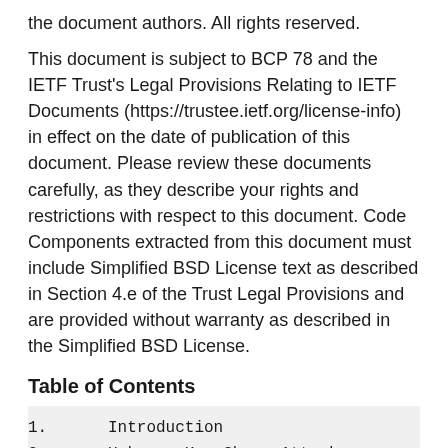the document authors. All rights reserved.
This document is subject to BCP 78 and the IETF Trust's Legal Provisions Relating to IETF Documents (https://trustee.ietf.org/license-info) in effect on the date of publication of this document. Please review these documents carefully, as they describe your rights and restrictions with respect to this document. Code Components extracted from this document must include Simplified BSD License text as described in Section 4.e of the Trust Legal Provisions and are provided without warranty as described in the Simplified BSD License.
Table of Contents
1.   Introduction
2.   Unknown Key-Share Attack
2.1.   Limits on Attack Feasibility
2.2.   Interactions with Key Continuity
2.3.   Third-Party Call Control
3.   Unknown Key-Share Attack with Identit...